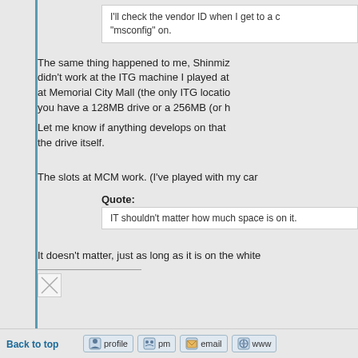I'll check the vendor ID when I get to a c... "msconfig" on.
The same thing happened to me, Shinmiz... didn't work at the ITG machine I played at... at Memorial City Mall (the only ITG locatio... you have a 128MB drive or a 256MB (or h...
Let me know if anything develops on that ... the drive itself.
The slots at MCM work. (I've played with my car...
Quote:
IT shouldn't matter how much space is on it.
It doesn't matter, just as long as it is on the white...
[Figure (other): Broken image placeholder]
Back to top
profile  pm  email  www